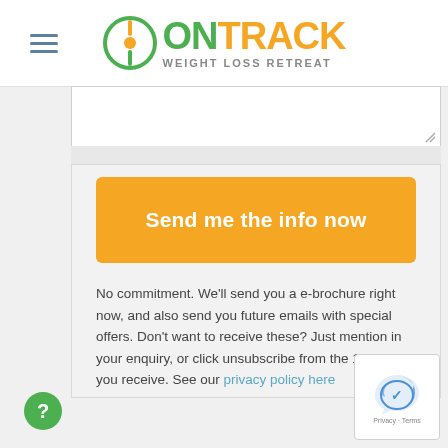[Figure (logo): OnTrack Weight Loss Retreat logo with circular icon and green/orange text]
[Figure (screenshot): Text area input field, partially visible, with resize handle]
[Figure (other): Orange 'Send me the info now' button]
No commitment. We'll send you a e-brochure right now, and also send you future emails with special offers. Don't want to receive these? Just mention in your enquiry, or click unsubscribe from the 1st email you receive. See our privacy policy here